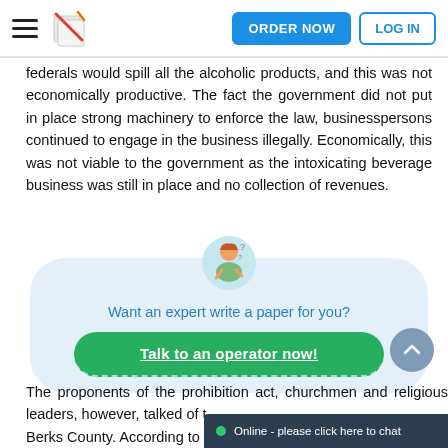ORDER NOW  LOG IN
federals would spill all the alcoholic products, and this was not economically productive. The fact the government did not put in place strong machinery to enforce the law, businesspersons continued to engage in the business illegally. Economically, this was not viable to the government as the intoxicating beverage business was still in place and no collection of revenues.
[Figure (infographic): Call-to-action box with icon of person writing, text 'Want an expert write a paper for you?' and green button 'Talk to an operator now!']
The proponents of the prohibition act, churchmen and religious leaders, however, talked of t... Berks County. According to t...